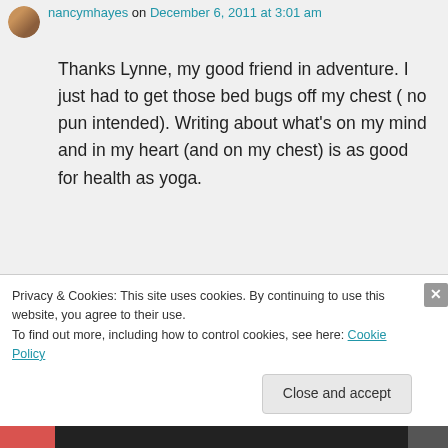nancymhayes on December 6, 2011 at 3:01 am
Thanks Lynne, my good friend in adventure. I just had to get those bed bugs off my chest ( no pun intended). Writing about what’s on my mind and in my heart (and on my chest) is as good for health as yoga.
Like
Reply
Privacy & Cookies: This site uses cookies. By continuing to use this website, you agree to their use.
To find out more, including how to control cookies, see here: Cookie Policy
Close and accept